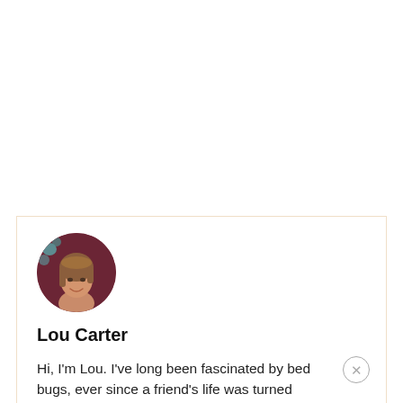[Figure (photo): Circular profile photo of Lou Carter, a woman with light brown hair, smiling, against a dark red/maroon background with teal floral pattern]
Lou Carter
Hi, I'm Lou. I've long been fascinated by bed bugs, ever since a friend's life was turned upside down. That's why I've put together this specialist site. You'll find detailed